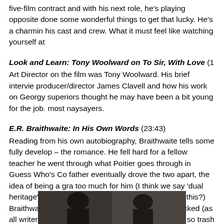five-film contract and with his next role, he's playing opposite done some wonderful things to get that lucky. He's a charmin his cast and crew. What it must feel like watching yourself at
Look and Learn: Tony Woolward on To Sir, With Love (1...
Art Director on the film was Tony Woolward. His brief intervie producer/director James Clavell and how his work on Georgy superiors thought he may have been a bit young for the job. most naysayers.
E.R. Braithwaite: In His Own Words (23:43)
Reading from his own autobiography, Braithwaite tells some fully develop – the romance. He fell hard for a fellow teacher he went through what Poitier goes through in Guess Who's Co father eventually drove the two apart, the idea of being a gra too much for him (I think we say 'dual heritage' now). Wartim to fill the 16x9 frame (why is this?) Braithwaite had a similar latter finished Carrie. Wracked (as all writers are) by self-criti the trash (he is American so trash is OK) and his wife fished i literary juggernaut was launched. Writing up notes after each almost a teaching manual that when he had finished with it, stopped him suggesting how many other people might benef turned it into a book...
[Figure (photo): Dark photograph showing two people, partially visible at bottom of page]